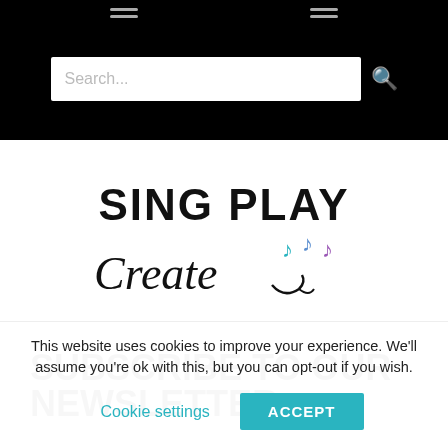[Figure (screenshot): Black navigation bar with hamburger menu icons on left and right, and a search input box with placeholder 'Search...' and a magnifying glass icon]
[Figure (logo): Sing Play Create logo — 'SING PLAY' in bold sans-serif uppercase black text, 'Create' in italic cursive script with colorful musical notes (teal, blue, purple) and decorative swirls]
SUBSCRIBE TO OUR NEWSLETTER
This website uses cookies to improve your experience. We'll assume you're ok with this, but you can opt-out if you wish.
Cookie settings    ACCEPT